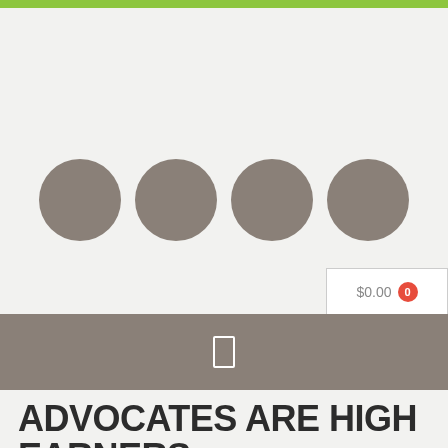[Figure (screenshot): Green top bar, four gray circles in a row, cart button showing $0.00 with red badge 0, dark gray navigation bar with a rectangle icon, and large bold title text ADVOCATES ARE HIGH EARNERS]
ADVOCATES ARE HIGH EARNERS